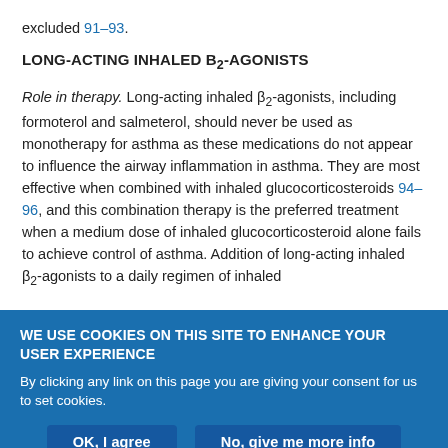excluded 91–93.
LONG-ACTING INHALED B₂-AGONISTS
Role in therapy. Long-acting inhaled β₂-agonists, including formoterol and salmeterol, should never be used as monotherapy for asthma as these medications do not appear to influence the airway inflammation in asthma. They are most effective when combined with inhaled glucocorticosteroids 94–96, and this combination therapy is the preferred treatment when a medium dose of inhaled glucocorticosteroid alone fails to achieve control of asthma. Addition of long-acting inhaled β₂-agonists to a daily regimen of inhaled
WE USE COOKIES ON THIS SITE TO ENHANCE YOUR USER EXPERIENCE
By clicking any link on this page you are giving your consent for us to set cookies.
OK, I agree
No, give me more info